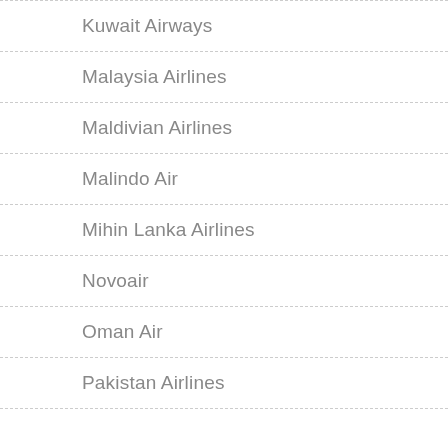Kuwait Airways
Malaysia Airlines
Maldivian Airlines
Malindo Air
Mihin Lanka Airlines
Novoair
Oman Air
Pakistan Airlines